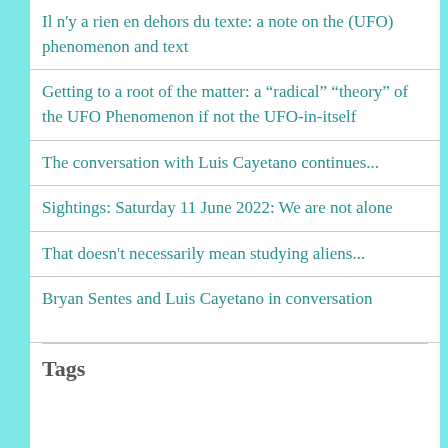Il n'y a rien en dehors du texte: a note on the (UFO) phenomenon and text
Getting to a root of the matter: a “radical” “theory” of the UFO Phenomenon if not the UFO-in-itself
The conversation with Luis Cayetano continues...
Sightings: Saturday 11 June 2022: We are not alone
That doesn't necessarily mean studying aliens...
Bryan Sentes and Luis Cayetano in conversation
Tags